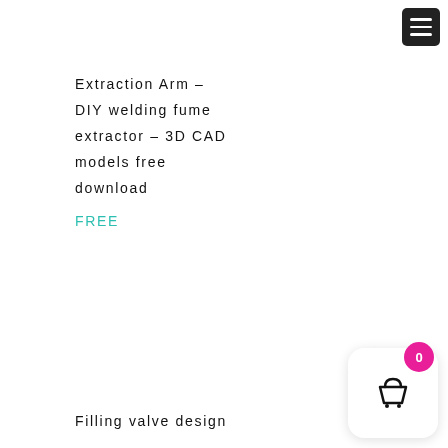[Figure (screenshot): Hamburger menu button (dark square with three white lines) in top-right corner]
Extraction Arm – DIY welding fume extractor – 3D CAD models free download
FREE
Filling valve design